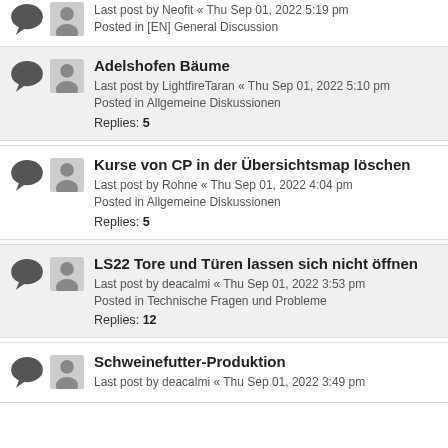Last post by Neofit « Thu Sep 01, 2022 5:19 pm
Posted in [EN] General Discussion
Adelshofen Bäume
Last post by LightfireTaran « Thu Sep 01, 2022 5:10 pm
Posted in Allgemeine Diskussionen
Replies: 5
Kurse von CP in der Übersichtsmap löschen
Last post by Rohne « Thu Sep 01, 2022 4:04 pm
Posted in Allgemeine Diskussionen
Replies: 5
LS22 Tore und Türen lassen sich nicht öffnen
Last post by deacalmi « Thu Sep 01, 2022 3:53 pm
Posted in Technische Fragen und Probleme
Replies: 12
Schweinefutter-Produktion
Last post by deacalmi « Thu Sep 01, 2022 3:49 pm